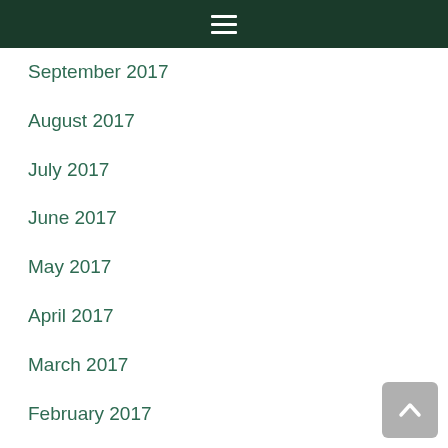Navigation menu bar
September 2017
August 2017
July 2017
June 2017
May 2017
April 2017
March 2017
February 2017
January 2017
December 2016
November 2016
September 2016
August 2016
July 2016